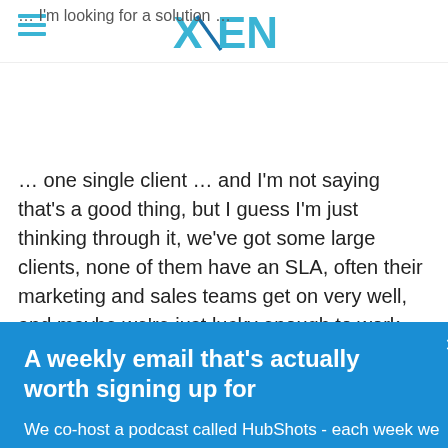XEN
...I'm looking for a solution ... one single client ... and I'm not saying that's a good thing, but I guess I'm just thinking through it, we've got some large clients, none of them have an SLA, often their marketing and sales teams get on very well, and maybe we're just lucky enough to work with successful...
A weekly email that's actually worth signing up for
We co-host a podcast called HubShots - each week we review the latest digital marketing and HubSpot strategies & tactics.
Every Friday morning we send out a comprehensive email containing the show notes, updates and links, plus additional commentary that didn't make it into the episode.
Want to receive it?